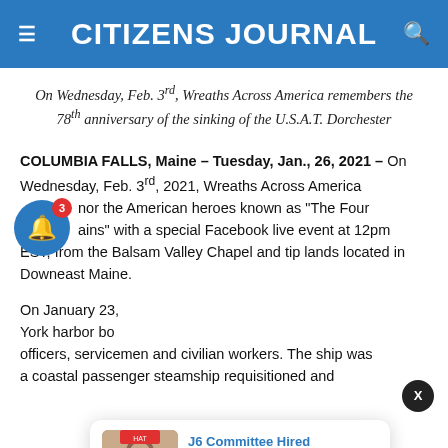CITIZENS JOURNAL
On Wednesday, Feb. 3rd, Wreaths Across America remembers the 78th anniversary of the sinking of the U.S.A.T. Dorchester
COLUMBIA FALLS, Maine – Tuesday, Jan., 26, 2021 – On Wednesday, Feb. 3rd, 2021, Wreaths Across America honor the American heroes known as "The Four Chaplains" with a special Facebook live event at 12pm EST, from the Balsam Valley Chapel and tip lands located in Downeast Maine.
On January 23, York harbor bo officers, servicemen and civilian workers. The ship was a coastal passenger steamship requisitioned and
[Figure (screenshot): Notification popup showing news article thumbnail and headline: 'J6 Committee Hired Consultant Who May Have' with timestamp '1 hour ago']